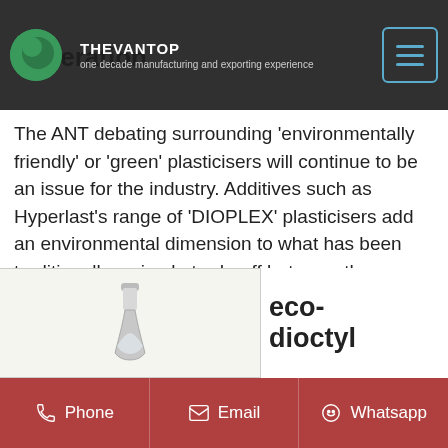Federation
THEVANTOP | one decade manufacturing and exporting experience
The ANT debating surrounding 'environmentally friendly' or 'green' plasticisers will continue to be an issue for the industry. Additives such as Hyperlast's range of 'DIOPLEX' plasticisers add an environmental dimension to what has been traditionally a simple trade-off between the performance of a product and its cost.
Send Inquiry
Get Price
[Figure (photo): Flask/bottle product image on light background]
eco-
dioctyl
Phone   Email   Whatsapp